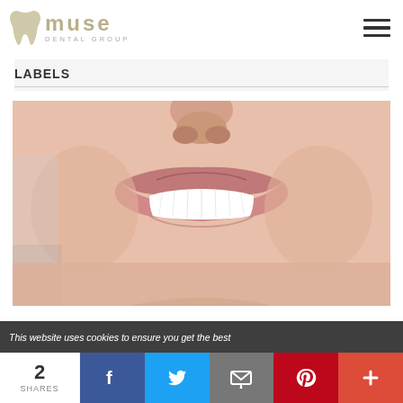[Figure (logo): Muse Dental Group logo with tooth icon and hamburger menu]
LABELS
[Figure (photo): Close-up photo of a woman smiling with white teeth and pink lips - dental/cosmetic dentistry image]
This website uses cookies to ensure you get the best
[Figure (infographic): Social share bar showing 2 SHARES with Facebook, Twitter, Email, Pinterest, and plus buttons]